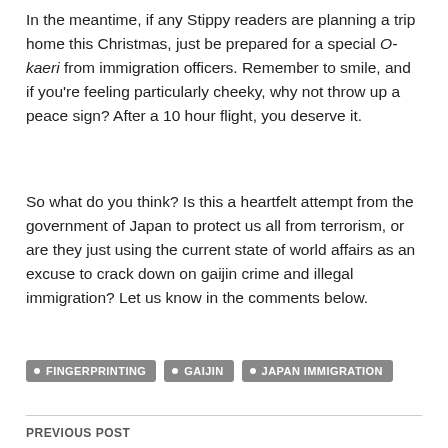In the meantime, if any Stippy readers are planning a trip home this Christmas, just be prepared for a special O-kaeri from immigration officers. Remember to smile, and if you're feeling particularly cheeky, why not throw up a peace sign? After a 10 hour flight, you deserve it.
So what do you think? Is this a heartfelt attempt from the government of Japan to protect us all from terrorism, or are they just using the current state of world affairs as an excuse to crack down on gaijin crime and illegal immigration? Let us know in the comments below.
FINGERPRINTING
GAIJIN
JAPAN IMMIGRATION
PREVIOUS POST